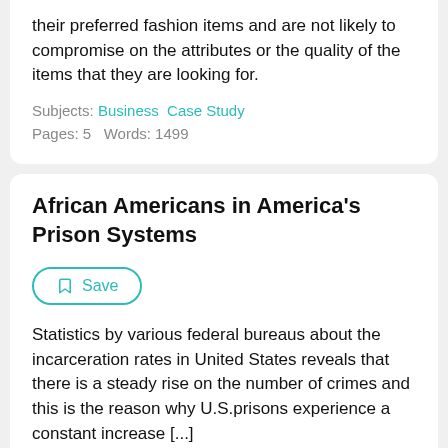their preferred fashion items and are not likely to compromise on the attributes or the quality of the items that they are looking for.
Subjects: Business   Case Study
Pages: 5   Words: 1499
African Americans in America's Prison Systems
Save
Statistics by various federal bureaus about the incarceration rates in United States reveals that there is a steady rise on the number of crimes and this is the reason why U.S.prisons experience a constant increase [...]
Check the price of your paper